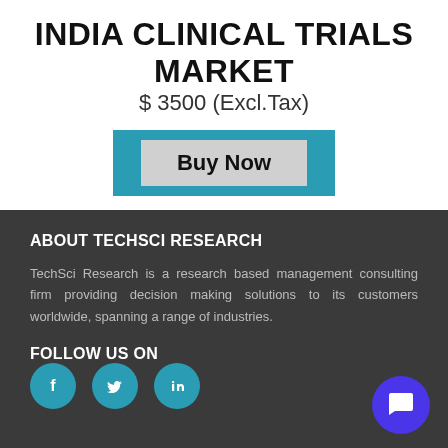INDIA CLINICAL TRIALS MARKET
$ 3500 (Excl.Tax)
Buy Now
ABOUT TECHSCI RESEARCH
TechSci Research is a research based management consulting firm providing decision making solutions to its customers worldwide, spanning a range of industries.
FOLLOW US ON
[Figure (infographic): Three social media icons: Facebook, Twitter, LinkedIn in teal circles]